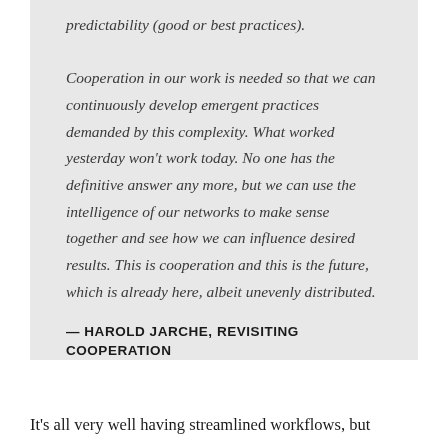predictability (good or best practices). Cooperation in our work is needed so that we can continuously develop emergent practices demanded by this complexity. What worked yesterday won't work today. No one has the definitive answer any more, but we can use the intelligence of our networks to make sense together and see how we can influence desired results. This is cooperation and this is the future, which is already here, albeit unevenly distributed.
— HAROLD JARCHE, REVISITING COOPERATION
It's all very well having streamlined workflows, but